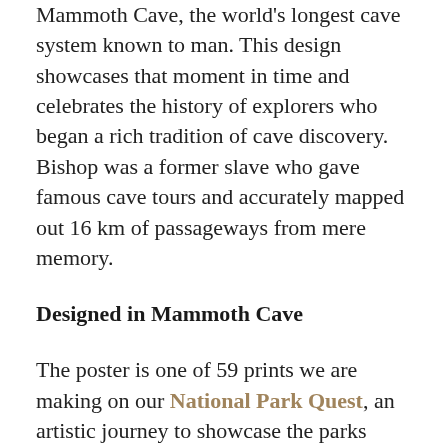Mammoth Cave, the world's longest cave system known to man. This design showcases that moment in time and celebrates the history of explorers who began a rich tradition of cave discovery. Bishop was a former slave who gave famous cave tours and accurately mapped out 16 km of passageways from mere memory.
Designed in Mammoth Cave
The poster is one of 59 prints we are making on our National Park Quest, an artistic journey to showcase the parks through a creative lens.
We designed this poster while discovering Mammoth Cave National Park in April 2016, and its composition was inspired by cave tours, stories from rangers, as well as the museum within the park's visitor center. The imagery was literally crafted in the heart of the...